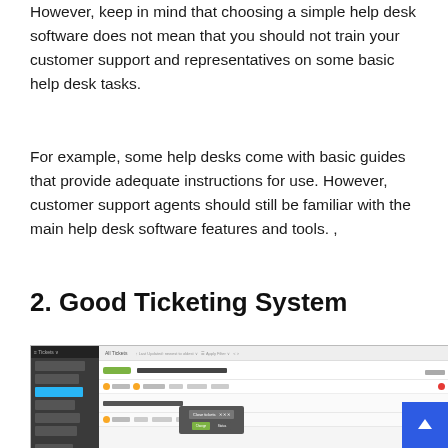However, keep in mind that choosing a simple help desk software does not mean that you should not train your customer support and representatives on some basic help desk tasks.
For example, some help desks come with basic guides that provide adequate instructions for use. However, customer support agents should still be familiar with the main help desk software features and tools. ,
2. Good Ticketing System
[Figure (screenshot): Screenshot of a help desk ticketing system interface showing 'All Tickets' view with sidebar navigation, ticket rows including items about Twitter and premium account upgrade, and a popup 'Close tickets' dialog. A blue scroll-to-top button is visible in the bottom right corner.]